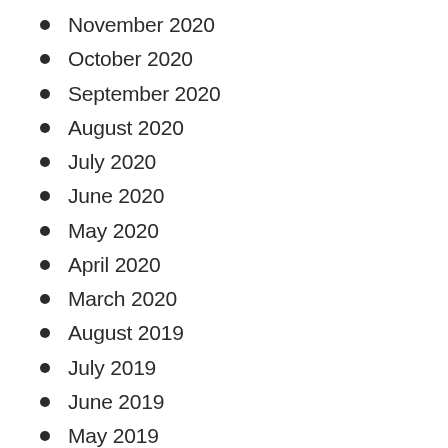November 2020
October 2020
September 2020
August 2020
July 2020
June 2020
May 2020
April 2020
March 2020
August 2019
July 2019
June 2019
May 2019